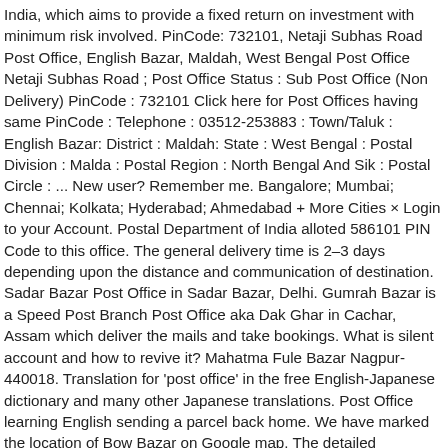India, which aims to provide a fixed return on investment with minimum risk involved. PinCode: 732101, Netaji Subhas Road Post Office, English Bazar, Maldah, West Bengal Post Office Netaji Subhas Road ; Post Office Status : Sub Post Office (Non Delivery) PinCode : 732101 Click here for Post Offices having same PinCode : Telephone : 03512-253883 : Town/Taluk : English Bazar: District : Maldah: State : West Bengal : Postal Division : Malda : Postal Region : North Bengal And Sik : Postal Circle : ... New user? Remember me. Bangalore; Mumbai; Chennai; Kolkata; Hyderabad; Ahmedabad + More Cities × Login to your Account. Postal Department of India alloted 586101 PIN Code to this office. The general delivery time is 2–3 days depending upon the distance and communication of destination. Sadar Bazar Post Office in Sadar Bazar, Delhi. Gumrah Bazar is a Speed Post Branch Post Office aka Dak Ghar in Cachar, Assam which deliver the mails and take bookings. What is silent account and how to revive it? Mahatma Fule Bazar Nagpur-440018. Translation for 'post office' in the free English-Japanese dictionary and many other Japanese translations. Post Office learning English sending a parcel back home. We have marked the location of Bow Bazar on Google map. The detailed information like office type and delivery is helpful in order to enjoy the services provided viz speed post, parcel service, etc. Sports ministry allows stadiums to be filled upto 50% in fresh SOP After Assam, UK returnee tests Covid positive in Tripura Karnataka Home Secy seeks probe into IPS officers role in tender UP police rearrest three out of four COVID-19 positive